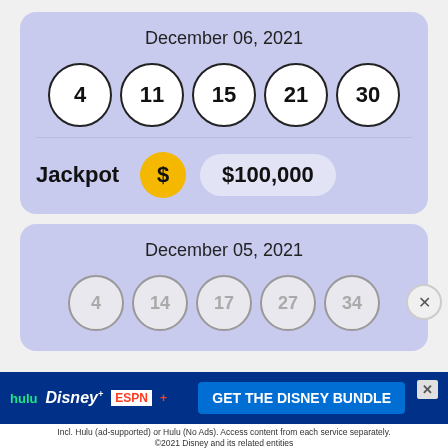December 06, 2021
[Figure (infographic): Lottery balls showing numbers 4, 11, 15, 21, 30 for December 06, 2021]
Jackpot $100,000
December 05, 2021
[Figure (infographic): Lottery balls showing numbers 4, 14, 17, 27, 34 for December 05, 2021 (partially visible)]
[Figure (screenshot): Advertisement banner: Hulu Disney+ ESPN+ GET THE DISNEY BUNDLE. Incl. Hulu (ad-supported) or Hulu (No Ads). Access content from each service separately. ©2021 Disney and its related entities]